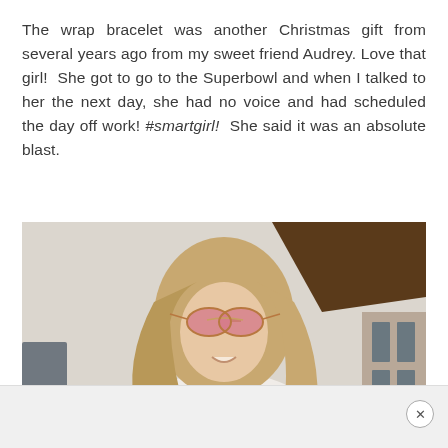The wrap bracelet was another Christmas gift from several years ago from my sweet friend Audrey. Love that girl!  She got to go to the Superbowl and when I talked to her the next day, she had no voice and had scheduled the day off work! #smartgirl!  She said it was an absolute blast.
[Figure (photo): A smiling woman with long blonde hair wearing pink/rose-gold aviator sunglasses and a layered gold necklace, photographed outdoors in front of a building with a brown awning. She is wearing a white top.]